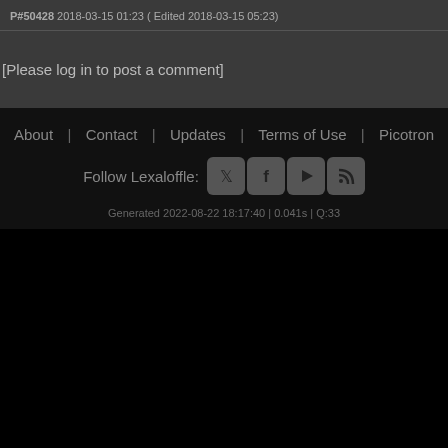P#50428 2018-03-15 01:23 ( Edited 2018-03-15 05:23)
[Please log in to post a comment]
About | Contact | Updates | Terms of Use | Picotron
Follow Lexaloffle:
[Figure (illustration): Social media icons: Twitter, Facebook, YouTube/Play, RSS feed]
Generated 2022-08-22 18:17:40 | 0.041s | Q:33